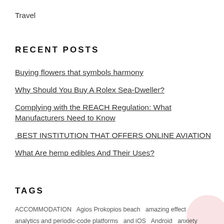Travel
RECENT POSTS
Buying flowers that symbols harmony
Why Should You Buy A Rolex Sea-Dweller?
Complying with the REACH Regulation: What Manufacturers Need to Know
BEST INSTITUTION THAT OFFERS ONLINE AVIATION
What Are hemp edibles And Their Uses?
TAGS
ACCOMMODATION   Agios Prokopios beach   amazing effect   analytics and periodic-code platforms   and iOS   Android   anxiety lower   automotive abilities